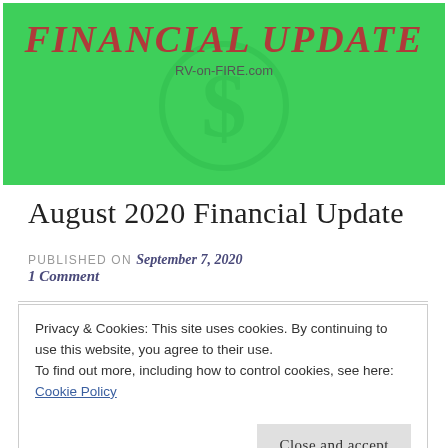[Figure (illustration): Green banner with 'FINANCIAL UPDATE' in large red italic bold text, URL 'RV-on-FIRE.com' below, and a faint dollar sign circle watermark in the background.]
August 2020 Financial Update
PUBLISHED ON September 7, 2020
1 Comment
Privacy & Cookies: This site uses cookies. By continuing to use this website, you agree to their use.
To find out more, including how to control cookies, see here:
Cookie Policy
Close and accept